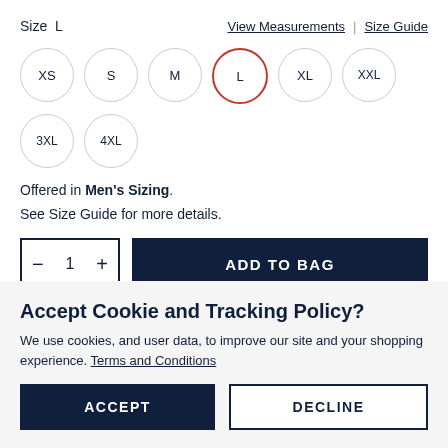Size  L
View Measurements | Size Guide
XS
S
M
L (selected)
XL
XXL
3XL
4XL
Offered in Men's Sizing.
See Size Guide for more details.
- 1 + ADD TO BAG
Accept Cookie and Tracking Policy?
We use cookies, and user data, to improve our site and your shopping experience. Terms and Conditions
ACCEPT
DECLINE